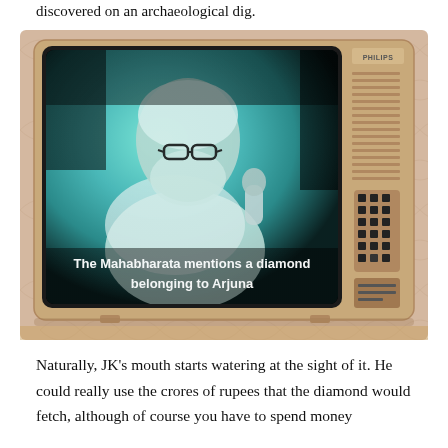discovered on an archaeological dig.
[Figure (photo): An old Philips CRT television set displaying a black-and-white footage of an elderly bearded man wearing glasses and holding a microphone. The TV screen shows subtitles: 'The Mahabharata mentions a diamond belonging to Arjuna'. The TV has a wooden/tan body with vents and buttons on the right side.]
Naturally, JK's mouth starts watering at the sight of it. He could really use the crores of rupees that the diamond would fetch, although of course you have to spend money